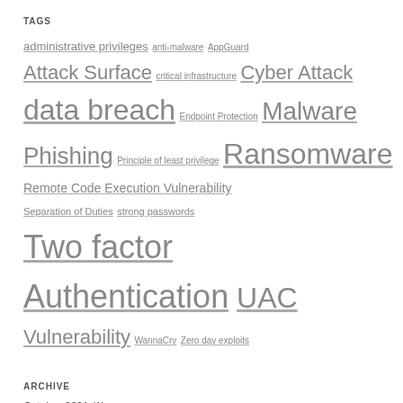TAGS
administrative privileges anti-malware AppGuard Attack Surface critical infrastructure Cyber Attack data breach Endpoint Protection Malware Phishing Principle of least privilege Ransomware Remote Code Execution Vulnerability Separation of Duties strong passwords Two factor Authentication UAC Vulnerability WannaCry Zero day exploits
ARCHIVE
October 2021 (1)
September 2021 (1)
July 2021 (1)
June 2021 (1)
May 2021 (1)
April 2021 (1)